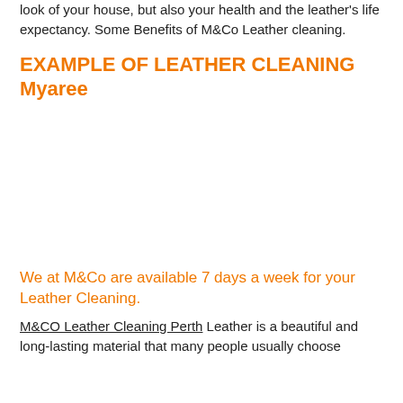look of your house, but also your health and the leather's life expectancy. Some Benefits of M&Co Leather cleaning.
EXAMPLE OF LEATHER CLEANING Myaree
[Figure (photo): Example of leather cleaning in Myaree - image placeholder]
We at M&Co are available 7 days a week for your Leather Cleaning.
M&CO Leather Cleaning Perth Leather is a beautiful and long-lasting material that many people usually choose